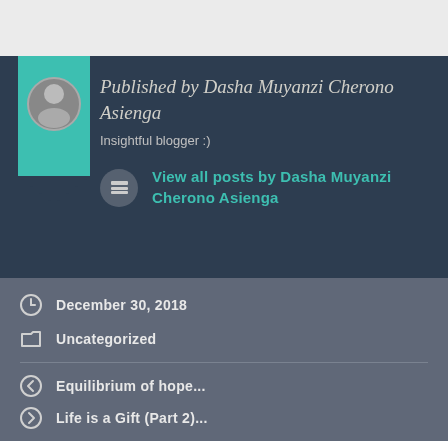[Figure (other): White/light gray header area at top of page]
Published by Dasha Muyanzi Cherono Asienga
Insightful blogger :)
View all posts by Dasha Muyanzi Cherono Asienga
December 30, 2018
Uncategorized
Equilibrium of hope...
Life is a Gift (Part 2)...